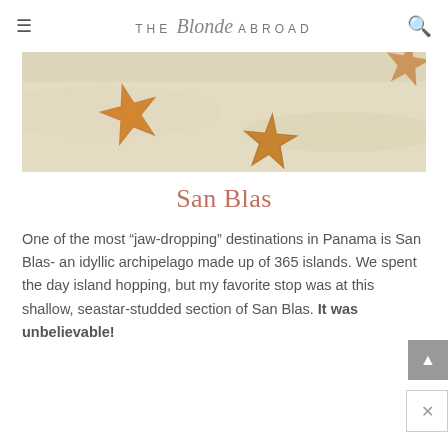THE Blonde ABROAD
[Figure (photo): Photo of starfish/seastars on a sandy, shallow water beach area in San Blas. Two orange/yellow seastars are visible resting on pale sand.]
San Blas
One of the most “jaw-dropping” destinations in Panama is San Blas- an idyllic archipelago made up of 365 islands. We spent the day island hopping, but my favorite stop was at this shallow, seastar-studded section of San Blas. It was unbelievable!